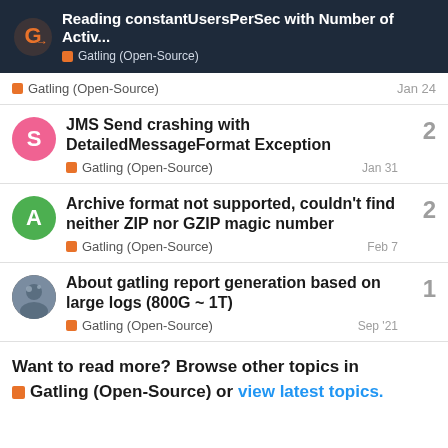Reading constantUsersPerSec with Number of Activ... — Gatling (Open-Source)
Gatling (Open-Source) Jan 24
JMS Send crashing with DetailedMessageFormat Exception — Gatling (Open-Source) Jan 31 — 2 replies
Archive format not supported, couldn't find neither ZIP nor GZIP magic number — Gatling (Open-Source) Feb 7 — 2 replies
About gatling report generation based on large logs (800G ~ 1T) — Gatling (Open-Source) Sep '21 — 1 reply
Want to read more? Browse other topics in Gatling (Open-Source) or view latest topics.